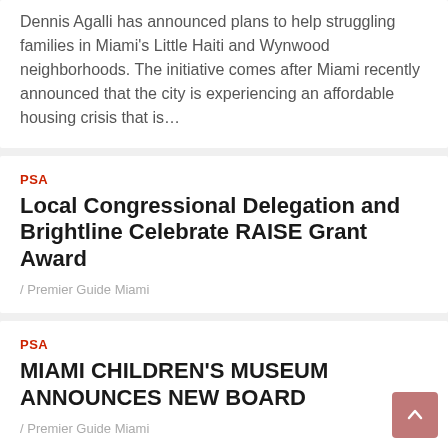Dennis Agalli has announced plans to help struggling families in Miami's Little Haiti and Wynwood neighborhoods. The initiative comes after Miami recently announced that the city is experiencing an affordable housing crisis that is…
PSA
Local Congressional Delegation and Brightline Celebrate RAISE Grant Award
/ Premier Guide Miami
PSA
MIAMI CHILDREN'S MUSEUM ANNOUNCES NEW BOARD
/ Premier Guide Miami
PSA
CARNIVAL CRUISE LINE REMOVES PRE-CRUISE TESTING FOR VACCINATED GUESTS AND